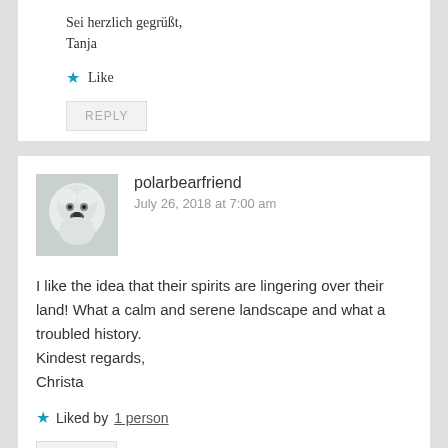Sei herzlich gegrüßt,
Tanja
★ Like
REPLY
polarbearfriend
July 26, 2018 at 7:00 am
[Figure (photo): Avatar photo of a white polar bear or dog face, grayscale]
I like the idea that their spirits are lingering over their land! What a calm and serene landscape and what a troubled history.
Kindest regards,
Christa
★ Liked by 1 person
REPLY